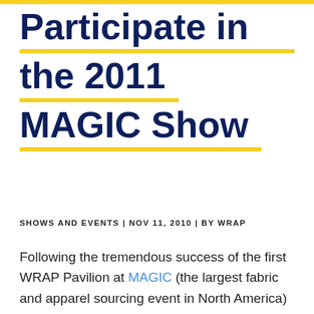Participate in the 2011 MAGIC Show
SHOWS AND EVENTS | NOV 11, 2010 | BY WRAP
Following the tremendous success of the first WRAP Pavilion at MAGIC (the largest fabric and apparel sourcing event in North America) in August 2010, WRAP is planning another WRAP Pavilion to showcase socially